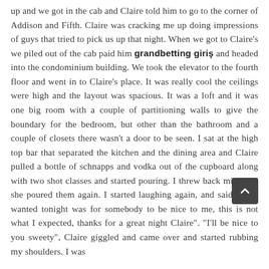up and we got in the cab and Claire told him to go to the corner of Addison and Fifth. Claire was cracking me up doing impressions of guys that tried to pick us up that night. When we got to Claire's we piled out of the cab paid him grandbetting giriş and headed into the condominium building. We took the elevator to the fourth floor and went in to Claire's place. It was really cool the ceilings were high and the layout was spacious. It was a loft and it was one big room with a couple of partitioning walls to give the boundary for the bedroom, but other than the bathroom and a couple of closets there wasn't a door to be seen. I sat at the high top bar that separated the kitchen and the dining area and Claire pulled a bottle of schnapps and vodka out of the cupboard along with two shot classes and started pouring. I threw back mine and she poured them again. I started laughing again, and said, "all I wanted tonight was for somebody to be nice to me, this is not what I expected, thanks for a great night Claire". "I'll be nice to you sweety", Claire giggled and came over and started rubbing my shoulders. I was